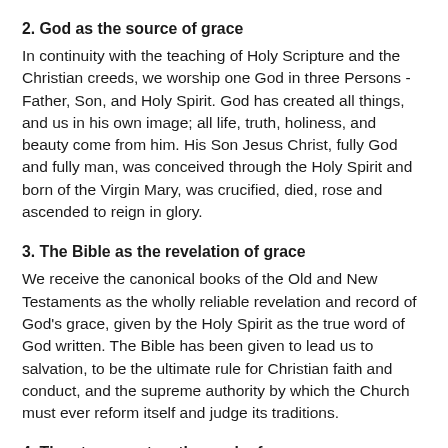2. God as the source of grace
In continuity with the teaching of Holy Scripture and the Christian creeds, we worship one God in three Persons - Father, Son, and Holy Spirit. God has created all things, and us in his own image; all life, truth, holiness, and beauty come from him. His Son Jesus Christ, fully God and fully man, was conceived through the Holy Spirit and born of the Virgin Mary, was crucified, died, rose and ascended to reign in glory.
3. The Bible as the revelation of grace
We receive the canonical books of the Old and New Testaments as the wholly reliable revelation and record of God's grace, given by the Holy Spirit as the true word of God written. The Bible has been given to lead us to salvation, to be the ultimate rule for Christian faith and conduct, and the supreme authority by which the Church must ever reform itself and judge its traditions.
4. The atonement as the work of grace
We believe that Jesus Christ came to save lost sinners. Though sinless, he bore our sins, and their judgment, on